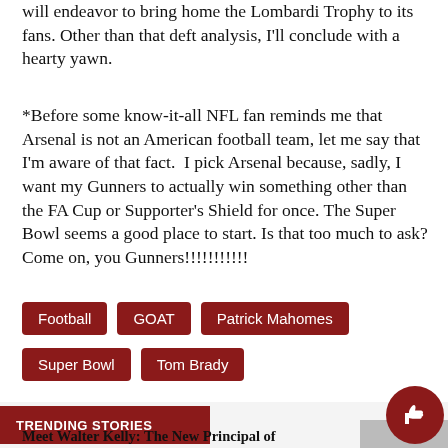will endeavor to bring home the Lombardi Trophy to its fans. Other than that deft analysis, I'll conclude with a hearty yawn.
*Before some know-it-all NFL fan reminds me that Arsenal is not an American football team, let me say that I'm aware of that fact.  I pick Arsenal because, sadly, I want my Gunners to actually win something other than the FA Cup or Supporter's Shield for once. The Super Bowl seems a good place to start. Is that too much to ask? Come on, you Gunners!!!!!!!!!!!
Football
GOAT
Patrick Mahomes
Super Bowl
Tom Brady
TRENDING STORIES
Meet Walter Kelly: The New Principal of